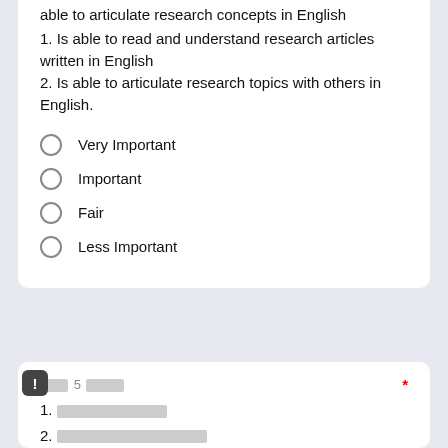able to articulate research concepts in English
1. Is able to read and understand research articles written in English
2. Is able to articulate research topics with others in English.
Very Important
Important
Fair
Less Important
[redacted] 5 [redacted]
1. [redacted]
2. [redacted]
Competency 5 Academic Ethics: Student is able